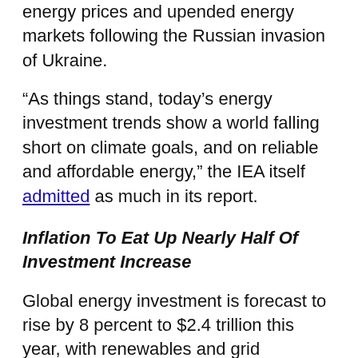energy prices and upended energy markets following the Russian invasion of Ukraine.
“As things stand, today’s energy investment trends show a world falling short on climate goals, and on reliable and affordable energy,” the IEA itself admitted as much in its report.
Inflation To Eat Up Nearly Half Of Investment Increase
Global energy investment is forecast to rise by 8 percent to $2.4 trillion this year, with renewables and grid investments increasing at the fastest pace.
Still, nearly half of the $200 billion increase in investment in 2022 is likely to be eaten up by higher costs rather than bringing additional energy supply capacity or savings. Costs are soaring amid supply chain pressures, tight labor, and energy services markets, and surging steel and cement prices, the Paris-based agency said.